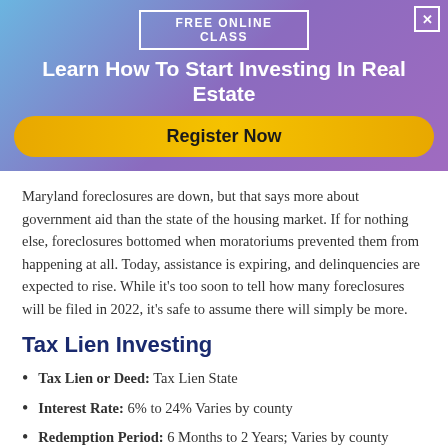FREE ONLINE CLASS
Learn How To Start Investing In Real Estate
Register Now
Maryland foreclosures are down, but that says more about government aid than the state of the housing market. If for nothing else, foreclosures bottomed when moratoriums prevented them from happening at all. Today, assistance is expiring, and delinquencies are expected to rise. While it's too soon to tell how many foreclosures will be filed in 2022, it's safe to assume there will simply be more.
Tax Lien Investing
Tax Lien or Deed: Tax Lien State
Interest Rate: 6% to 24% Varies by county
Redemption Period: 6 Months to 2 Years; Varies by county